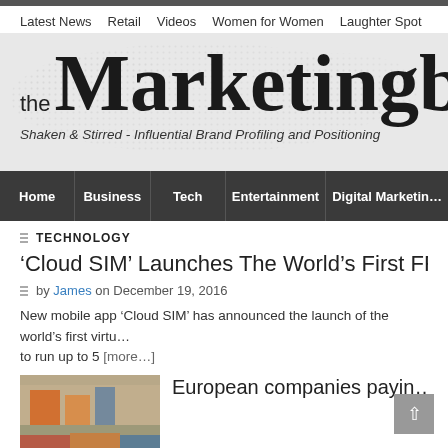Latest News  Retail  Videos  Women for Women  Laughter Spot
the Marketingblog
Shaken & Stirred - Influential Brand Profiling and Positioning
Home  Business  Tech  Entertainment  Digital Marketing
TECHNOLOGY
'Cloud SIM' Launches The World's First FREE Virtual SI...
by James on December 19, 2016
New mobile app 'Cloud SIM' has announced the launch of the world's first virtu... to run up to 5 [more...]
European companies payin...